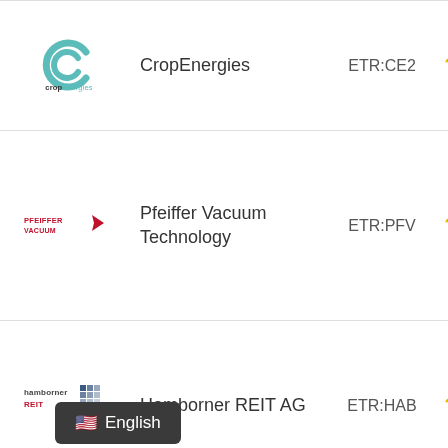| Logo | Company | Ticker | Rating |
| --- | --- | --- | --- |
| CropEnergies logo | CropEnergies | ETR:CE2 | ???? |
| Pfeiffer Vacuum Technology logo | Pfeiffer Vacuum Technology | ETR:PFV | ???? |
| Hamborner REIT AG logo | Hamborner REIT AG | ETR:HAB | ???? |
English